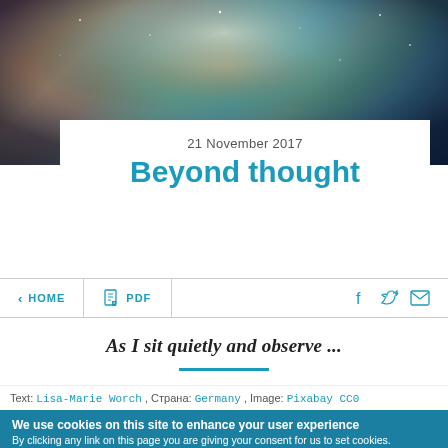[Figure (photo): Nebula/space photograph with colorful gas clouds in teal, orange, and brown tones]
21 November 2017
Beyond thought
< HOME   PDF   [social icons: Facebook, Twitter, Email]
As I sit quietly and observe ...
Text: Lisa-Marie Worch , Страна: Germany , Image: Pixabay CC0
We use cookies on this site to enhance your user experience
By clicking any link on this page you are giving your consent for us to set cookies.